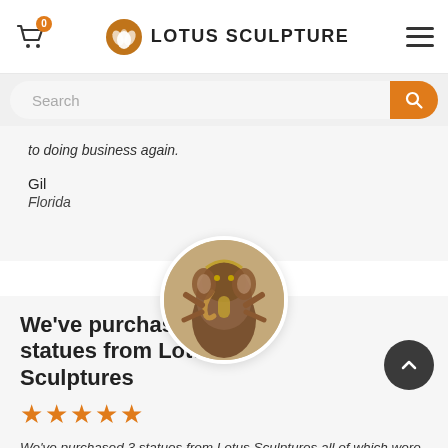LOTUS SCULPTURE
Search
to doing business again.
Gil
Florida
[Figure (photo): Circular photo of a bronze/gold Ganesha statue with elephant head, multiple arms, decorative details, on a light background.]
We've purchased 3 statues from Lotus Sculptures
★★★★★
We've purchased 3 statues from Lotus Sculptures all of which were in superb condition and all more beautiful than the photos. The artistry and